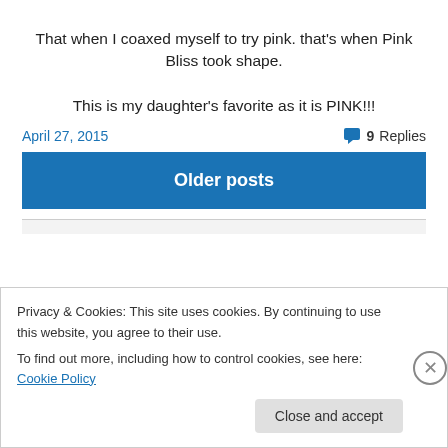That when I coaxed myself to try pink. that's when Pink Bliss took shape.

This is my daughter's favorite as it is PINK!!!
April 27, 2015
9 Replies
Older posts
Privacy & Cookies: This site uses cookies. By continuing to use this website, you agree to their use.
To find out more, including how to control cookies, see here: Cookie Policy
Close and accept